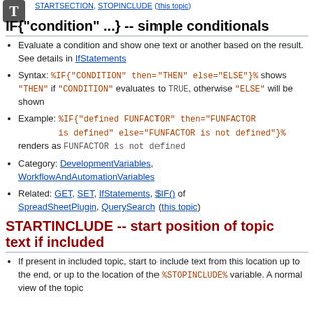STARTSECTION, STOPINCLUDE (this topic)
IF{"condition" ...} -- simple conditionals
Evaluate a condition and show one text or another based on the result. See details in IfStatements
Syntax: %IF{"CONDITION" then="THEN" else="ELSE"}% shows "THEN" if "CONDITION" evaluates to TRUE, otherwise "ELSE" will be shown
Example: %IF{"defined FUNFACTOR" then="FUNFACTOR is defined" else="FUNFACTOR is not defined"}% renders as FUNFACTOR is not defined
Category: DevelopmentVariables, WorkflowAndAutomationVariables
Related: GET, SET, IfStatements, $IF() of SpreadSheetPlugin, QuerySearch (this topic)
STARTINCLUDE -- start position of topic text if included
If present in included topic, start to include text from this location up to the end, or up to the location of the %STOPINCLUDE% variable. A normal view of the topic